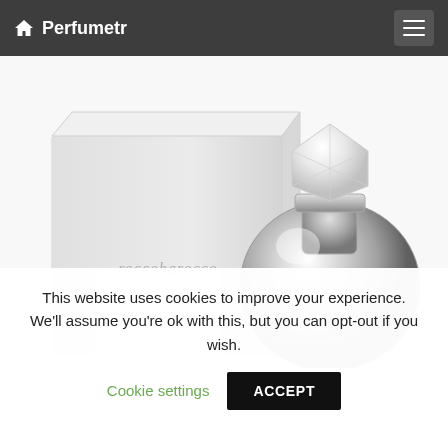🏠 Perfumetr
[Figure (photo): Roccobarocco perfume product photo showing a white square box with 'roccobarocco' text and a silver/chrome spherical perfume bottle with a white diamond-shaped cap, on a white background.]
This website uses cookies to improve your experience. We'll assume you're ok with this, but you can opt-out if you wish.
Cookie settings
ACCEPT